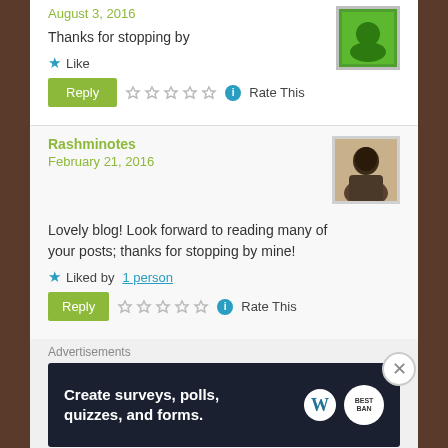August 3, 2016
Thanks for stopping by
Like
Rate This
Rashminotes
February 21, 2016
Lovely blog! Look forward to reading many of your posts; thanks for stopping by mine!
Liked by 1 person
Rate This
Advertisements
[Figure (infographic): Advertisement banner: dark navy background with white bold text reading 'Create surveys, polls, quizzes, and forms.' with WordPress logo and a circular badge on the right.]